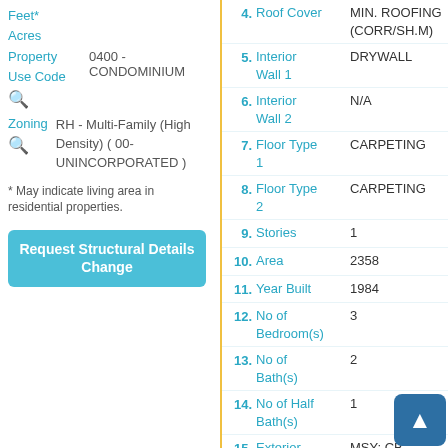Feet*
Acres
Property Use Code   0400 - CONDOMINIUM
Zoning   RH - Multi-Family (High Density) ( 00-UNINCORPORATED )
* May indicate living area in residential properties.
Request Structural Details Change
| # | Field | Value |
| --- | --- | --- |
| 4. | Roof Cover | MIN. ROOFING (CORR/SH.M) |
| 5. | Interior Wall 1 | DRYWALL |
| 6. | Interior Wall 2 | N/A |
| 7. | Floor Type 1 | CARPETING |
| 8. | Floor Type 2 | CARPETING |
| 9. | Stories | 1 |
| 10. | Area | 2358 |
| 11. | Year Built | 1984 |
| 12. | No of Bedroom(s) | 3 |
| 13. | No of Bath(s) | 2 |
| 14. | No of Half Bath(s) | 1 |
| 15. | Exterior Wall 1 | MSY: CB STUCO |
| 16. | Air Condition DESC | HTG |